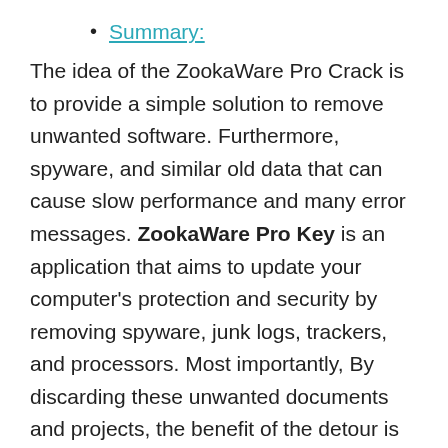Summary:
The idea of the ZookaWare Pro Crack is to provide a simple solution to remove unwanted software. Furthermore, spyware, and similar old data that can cause slow performance and many error messages. ZookaWare Pro Key is an application that aims to update your computer's protection and security by removing spyware, junk logs, trackers, and processors. Most importantly, By discarding these unwanted documents and projects, the benefit of the detour is that you can also see an expansion of the framework implementation. This software tells the truth on the interface and dashboard.